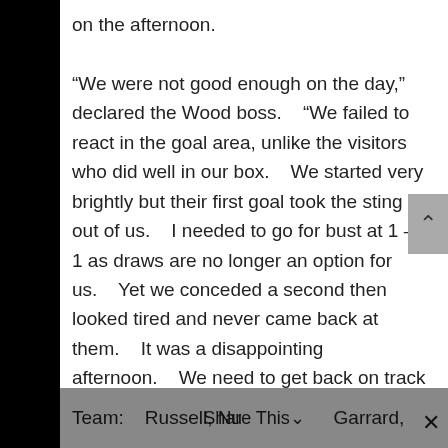on the afternoon.

“We were not good enough on the day,” declared the Wood boss.    “We failed to react in the goal area, unlike the visitors who did well in our box.    We started very brightly but their first goal took the sting out of us.    I needed to go for bust at 1 – 1 as draws are no longer an option for us.    Yet we conceded a second then looked tired and never came back at them.    It was a disappointing afternoon.    We need to get back on track and quickly.    I expect more from my forwards than what they are giving and this is reflecting in our results.”
Team:    Russell, Nu[Share This]Garrard,